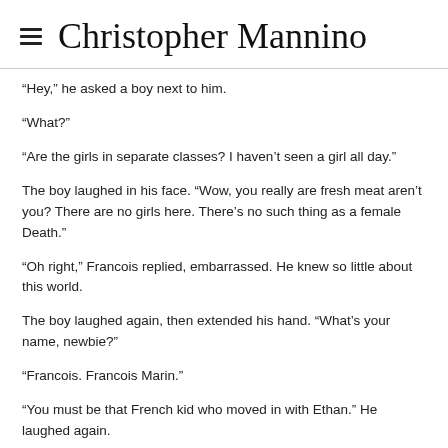Christopher Mannino
“Hey,” he asked a boy next to him.
“What?”
“Are the girls in separate classes? I haven’t seen a girl all day.”
The boy laughed in his face. “Wow, you really are fresh meat aren’t you? There are no girls here. There’s no such thing as a female Death.”
“Oh right,” Francois replied, embarrassed. He knew so little about this world.
The boy laughed again, then extended his hand. “What’s your name, newbie?”
“Francois. Francois Marin.”
“You must be that French kid who moved in with Ethan.” He laughed again.